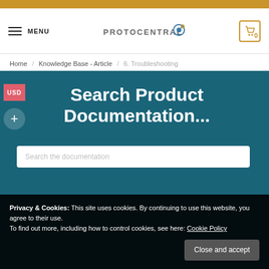PROTOCENTRAL — MENU | Cart: 0
Home / Knowledge Base - Article / 6. Troubleshooting
Search Product Documentation...
Search the documentation
Privacy & Cookies: This site uses cookies. By continuing to use this website, you agree to their use.
To find out more, including how to control cookies, see here: Cookie Policy
Close and accept